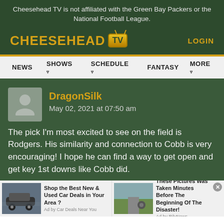Cheesehead TV is not affiliated with the Green Bay Packers or the National Football League.
[Figure (logo): Cheesehead TV logo with gold text and TV icon with antenna]
LOGIN
NEWS  SHOWS  SCHEDULE  FANTASY  MORE
DragonSilk
May 02, 2021 at 07:50 am
The pick I'm most excited to see on the field is Rodgers. His similarity and connection to Cobb is very encouraging! I hope he can find a way to get open and get key 1st downs like Cobb did.
[Figure (infographic): Advertisement: Shop the Best New & Used Car Deals in Your Area? Ad by Car Deals Near You]
[Figure (infographic): Advertisement: These Pictures Was Taken Minutes Before The Beginning Of The Disaster! Ad by RilyNews]